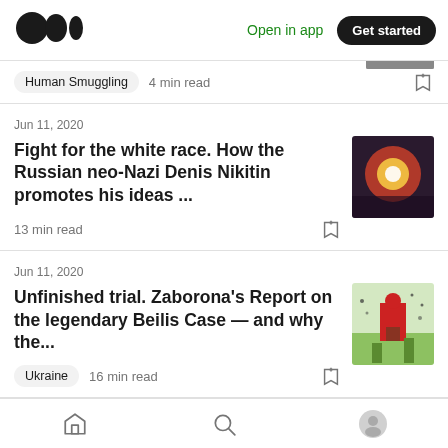Medium logo | Open in app | Get started
Human Smuggling  4 min read
Jun 11, 2020
Fight for the white race. How the Russian neo-Nazi Denis Nikitin promotes his ideas ...
13 min read
Jun 11, 2020
Unfinished trial. Zaborona's Report on the legendary Beilis Case — and why the...
Ukraine  16 min read
Home | Search | Profile